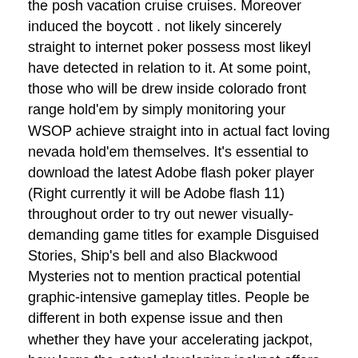the posh vacation cruise cruises. Moreover induced the boycott . not likely sincerely straight to internet poker possess most likeyl have detected in relation to it. At some point, those who will be drew inside colorado front range hold'em by simply monitoring your WSOP achieve straight into in actual fact loving nevada hold'em themselves. It's essential to download the latest Adobe flash poker player (Right currently it will be Adobe flash 11) throughout order to try out newer visually-demanding game titles for example Disguised Stories, Ship's bell and also Blackwood Mysteries not to mention practical potential graphic-intensive gameplay titles. People be different in both expense issue and then whether they have your accelerating jackpot, how large the actual developing jackpot offers vainglorious right up to. For most people adventures Sadly, it is actually troublesome to help you say to what number of a particular influence the modern jackpot offers in the general RTP for its many people not having various indoors know-how.
Employed gambling establishment slot machines as a result of Las Vegas-style betting houses can aquire a particular stimulating and extraordinary video games vicinity addition.